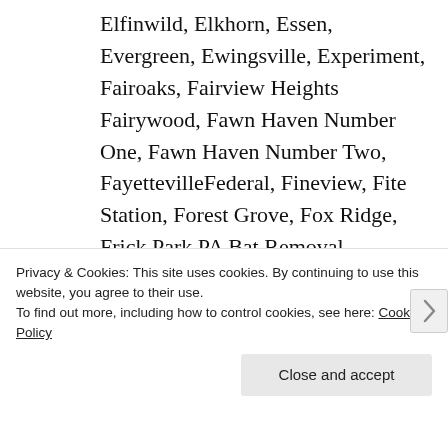Elfinwild, Elkhorn, Essen, Evergreen, Ewingsville, Experiment, Fairoaks, Fairview Heights Fairywood, Fawn Haven Number One, Fawn Haven Number Two, FayettevilleFederal, Fineview, Fite Station, Forest Grove, Fox Ridge, Frick Park PA Bat Removal, Friendship, Gallatin, Garfield, Garvey Molton PA Bat
Privacy & Cookies: This site uses cookies. By continuing to use this website, you agree to their use.
To find out more, including how to control cookies, see here: Cookie Policy